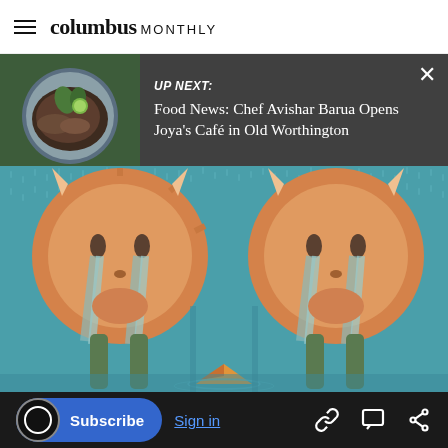columbus MONTHLY
UP NEXT: Food News: Chef Avishar Barua Opens Joya's Café in Old Worthington
[Figure (illustration): Colorful illustrated artwork showing two bull-like figures with orange circular heads, horns, crying tears on a teal background with rain drops, and a small paper boat in the center bottom]
Subscribe   Sign in